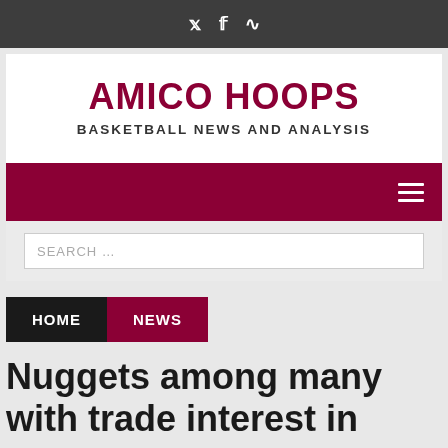Twitter  Facebook  RSS
AMICO HOOPS
BASKETBALL NEWS AND ANALYSIS
[Figure (screenshot): Dark red navigation bar with hamburger menu icon on the right]
SEARCH ...
HOME
NEWS
Nuggets among many with trade interest in